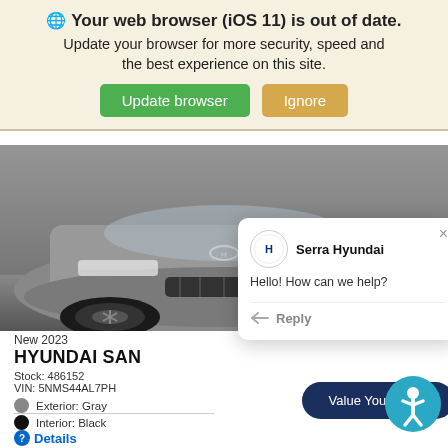🌐 Your web browser (iOS 11) is out of date. Update your browser for more security, speed and the best experience on this site. Update browser | Ignore
[Figure (photo): Front view of a silver/gray Hyundai SUV (2023 Hyundai Santa Fe), showing headlights, grille, and wheels on a gray background.]
[Figure (screenshot): Chat popup overlay from Serra Hyundai with logo, greeting 'Hello! How can we help?' and a Reply button. Has an X close button in top right.]
New 2023
HYUNDAI SAN
Stock: 486152
VIN: 5NMS44AL7PH
Exterior: Gray
Interior: Black
Value Your Trade
Details